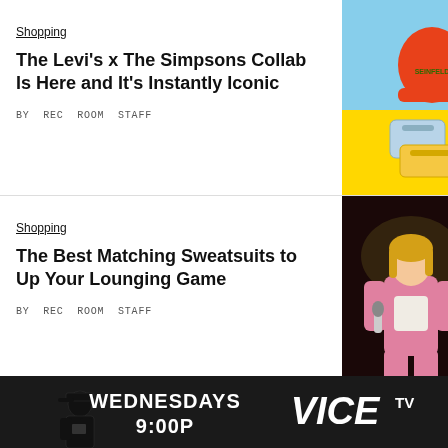Shopping
The Levi's x The Simpsons Collab Is Here and It's Instantly Iconic
BY REC ROOM STAFF
[Figure (photo): Colorful photo of Levi's x Simpsons merchandise including an orange beanie, blue bag, and yellow fanny pack on a bright background]
Shopping
The Best Matching Sweatsuits to Up Your Lounging Game
BY REC ROOM STAFF
[Figure (photo): Photo of a blonde person in a pink outfit performing on stage with a microphone]
Shopping
The Coolest New Drops This
[Figure (photo): Photo of purple sex toys on a lavender patterned background]
[Figure (photo): VICE TV advertisement banner - Wednesdays 9:00P with person silhouette and VICE TV logo]